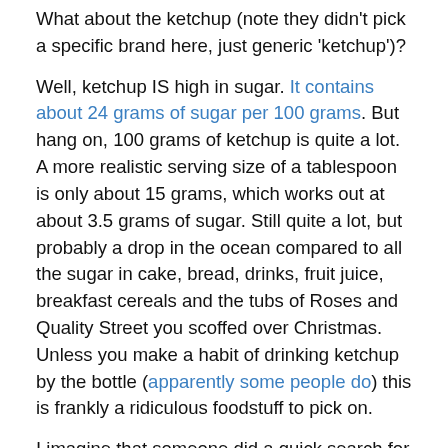What about the ketchup (note they didn't pick a specific brand here, just generic 'ketchup')?
Well, ketchup IS high in sugar. It contains about 24 grams of sugar per 100 grams. But hang on, 100 grams of ketchup is quite a lot. A more realistic serving size of a tablespoon is only about 15 grams, which works out at about 3.5 grams of sugar. Still quite a lot, but probably a drop in the ocean compared to all the sugar in cake, bread, drinks, fruit juice, breakfast cereals and the tubs of Roses and Quality Street you scoffed over Christmas. Unless you make a habit of drinking ketchup by the bottle (apparently some people do) this is frankly a ridiculous foodstuff to pick on.
I imagine that someone did a quick search for 'foods that contain fructose' and picked Coke because, well, everyone